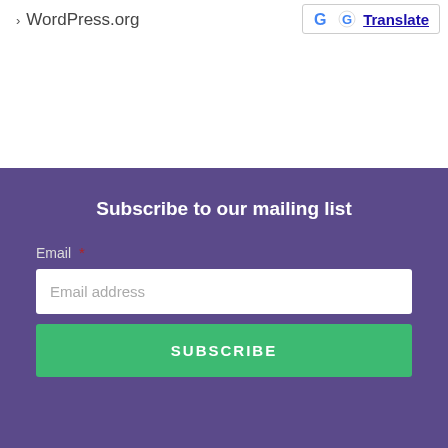WordPress.org
[Figure (logo): Google Translate button with G logo and 'Translate' text link]
Subscribe to our mailing list
Email *
Email address
SUBSCRIBE